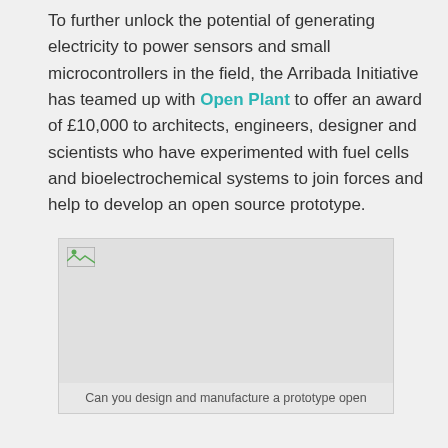To further unlock the potential of generating electricity to power sensors and small microcontrollers in the field, the Arribada Initiative has teamed up with Open Plant to offer an award of £10,000 to architects, engineers, designer and scientists who have experimented with fuel cells and bioelectrochemical systems to join forces and help to develop an open source prototype.
[Figure (photo): A placeholder image box with a broken image icon in the top-left corner and a light gray background representing an image that failed to load.]
Can you design and manufacture a prototype open